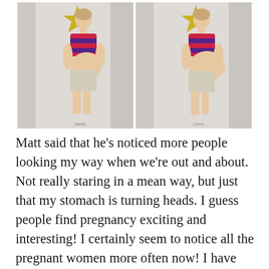[Figure (photo): Two side-by-side photos of a pregnant woman in a striped crop top and white shorts, shown in profile view. Both images show her baby bump. There are gold star decorations visible in the upper background of each photo. Small text/watermarks visible at the bottom of each photo.]
Matt said that he’s noticed more people looking my way when we’re out and about. Not really staring in a mean way, but just that my stomach is turning heads. I guess people find pregnancy exciting and interesting! I certainly seem to notice all the pregnant women more often now! I have strangers ask me when I’m